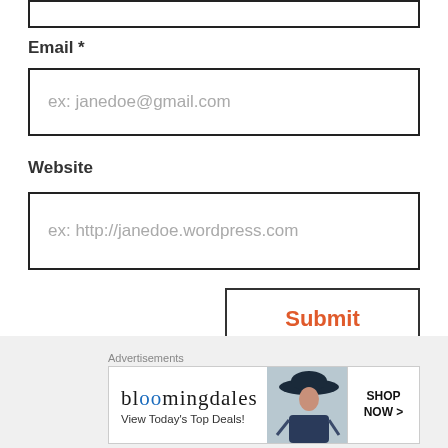[Figure (screenshot): Top portion of a form input box (cropped at top of page)]
Email *
[Figure (screenshot): Email input field with placeholder text 'ex: janedoe@gmail.com']
Website
[Figure (screenshot): Website input field with placeholder text 'ex: http://janedoe.wordpress.com']
Submit
Notify me of new comments via email.
Notify me of new posts via email.
Advertisements
[Figure (screenshot): Bloomingdale's advertisement banner: 'View Today's Top Deals!' with SHOP NOW > button]